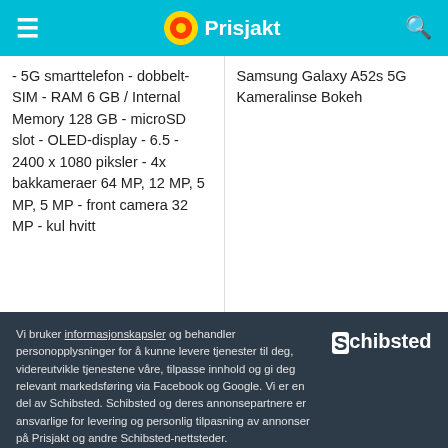Prisjakt
- 5G smarttelefon - dobbelt-SIM - RAM 6 GB / Internal Memory 128 GB - microSD slot - OLED-display - 6.5 - 2400 x 1080 piksler - 4x bakkameraer 64 MP, 12 MP, 5 MP, 5 MP - front camera 32 MP - kul hvitt
Samsung Galaxy A52s 5G Kameralinse Bokeh
Vi bruker informasjonskapsler og behandler personopplysninger for å kunne levere tjenester til deg, videreutvikle tjenestene våre, tilpasse innhold og gi deg relevant markedsføring via Facebook og Google. Vi er en del av Schibsted. Schibsted og deres annonsepartnere er ansvarlige for levering og personlig tilpasning av annonser på Prisjakt og andre Schibsted-nettsteder.
Godta
Mine valg